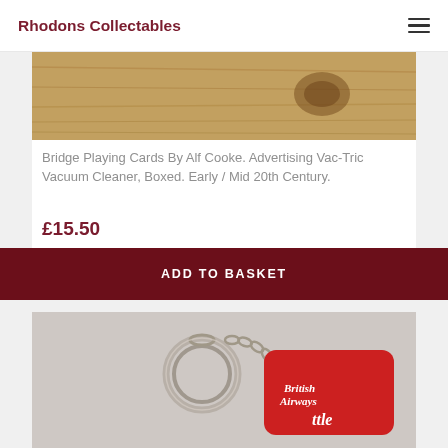Rhodons Collectables
[Figure (photo): Close-up of a wooden surface with visible grain and a knot, cropped view of what appears to be a wooden box or board]
Bridge Playing Cards By Alf Cooke. Advertising Vac-Tric Vacuum Cleaner, Boxed. Early / Mid 20th Century.
£15.50
ADD TO BASKET
[Figure (photo): A red British Airways keyring (luggage tag style) attached to a silver key ring, with text reading 'British Airways' and partial text 'ttle' visible]